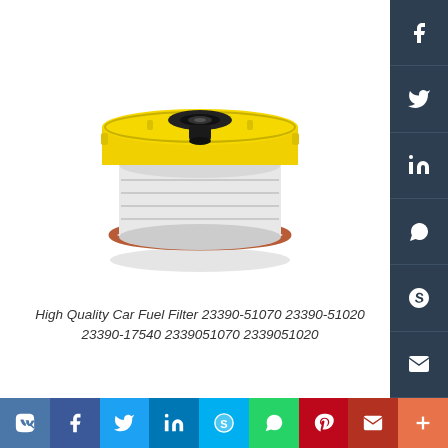[Figure (photo): A car fuel filter component with a round yellow plastic top lid, a black rubber o-ring/gasket on top, a white cylindrical filter body, and a brown/red circular seal ring around the base. Photographed on white background at a slight angle.]
High Quality Car Fuel Filter 23390-51070 23390-51020 23390-17540 2339051070 2339051020